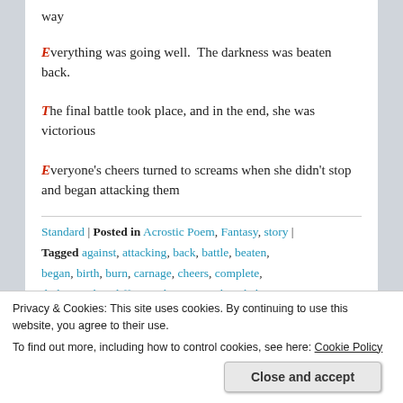way
Everything was going well.  The darkness was beaten back.
The final battle took place, and in the end, she was victorious
Everyone's cheers turned to screams when she didn't stop and began attacking them
Standard | Posted in Acrostic Poem, Fantasy, story | Tagged against, attacking, back, battle, beaten, began, birth, burn, carnage, cheers, complete, darkenss, day, different, division, end, ended
Privacy & Cookies: This site uses cookies. By continuing to use this website, you agree to their use. To find out more, including how to control cookies, see here: Cookie Policy
Close and accept